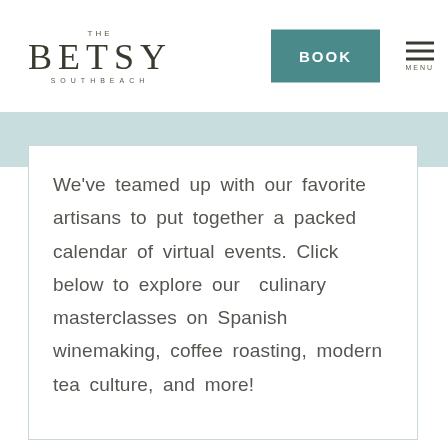THE BETSY SOUTHBEACH
We've teamed up with our favorite artisans to put together a packed calendar of virtual events. Click below to explore our  culinary masterclasses on Spanish winemaking, coffee roasting, modern tea culture, and more!